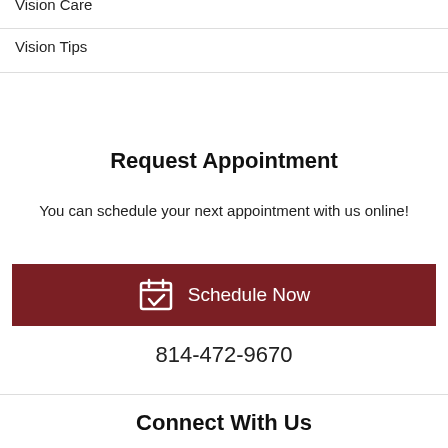Vision Care
Vision Tips
Request Appointment
You can schedule your next appointment with us online!
Schedule Now
814-472-9670
Connect With Us